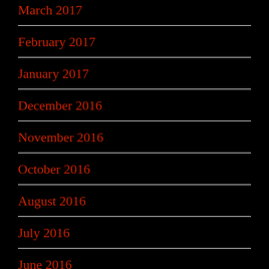March 2017
February 2017
January 2017
December 2016
November 2016
October 2016
August 2016
July 2016
June 2016